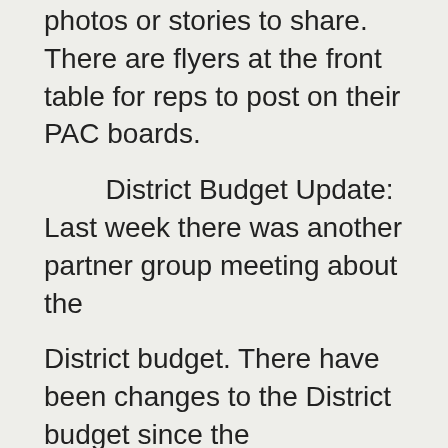photos or stories to share. There are flyers at the front table for reps to post on their PAC boards.
District Budget Update: Last week there was another partner group meeting about the District budget. There have been changes to the District budget since the presentation made to DPAC. Cuts have been reduced and there will no longer be cuts to resource teachers and librarians and the sharing of janitorial resources being looked at will also not need to happen. Once the Provincial Form 1701 on student data collection was reported it